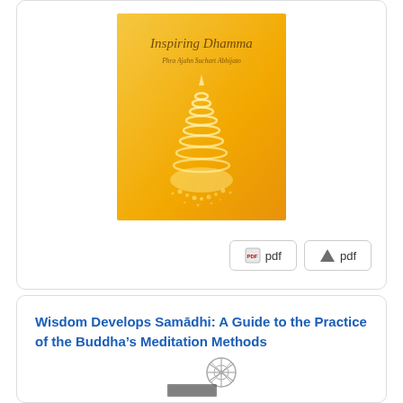[Figure (illustration): Book cover of 'Inspiring Dhamma' by Phra Ajahn Suchart Abhijato, golden/orange background with a golden stupa illustration]
pdf  pdf
Wisdom Develops Samādhi: A Guide to the Practice of the Buddha's Meditation Methods
[Figure (illustration): Partial view of a book cover with a Dhamma wheel icon visible]